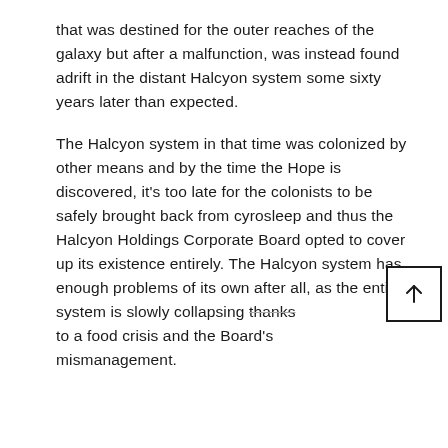that was destined for the outer reaches of the galaxy but after a malfunction, was instead found adrift in the distant Halcyon system some sixty years later than expected.
The Halcyon system in that time was colonized by other means and by the time the Hope is discovered, it's too late for the colonists to be safely brought back from cyrosleep and thus the Halcyon Holdings Corporate Board opted to cover up its existence entirely. The Halcyon system has enough problems of its own after all, as the entire system is slowly collapsing thanks to a food crisis and the Board's mismanagement.